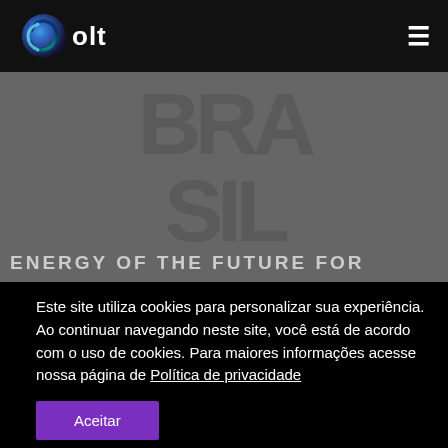Bolt — navigation header with logo and hamburger menu
[Figure (screenshot): Hero image area with large watermark letters and partial text 'ENERGY OF THE FUTURE FOR' visible at the bottom]
Este site utiliza cookies para personalizar sua experiência. Ao continuar navegando neste site, você está de acordo com o uso de cookies. Para maiores informações acesse nossa página de Política de privacidade
Aceitar